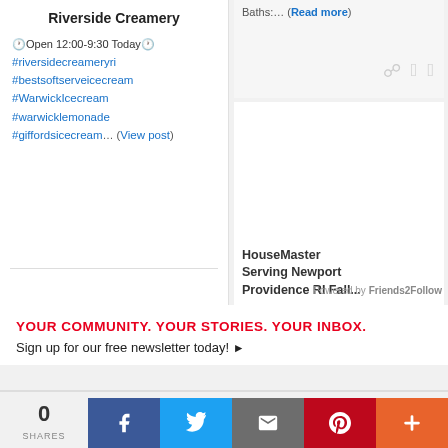Baths:... (Read more)
Riverside Creamery
Open 12:00-9:30 Today #riversidecreameryri #bestsoftserveicecream #WarwickIcecream #warwicklemonade #giffordsicecream... (View post)
HouseMaster Serving Newport Providence RI Fall...
Powered by Friends2Follow
YOUR COMMUNITY. YOUR STORIES. YOUR INBOX.
Sign up for our free newsletter today! ▶
0 SHARES